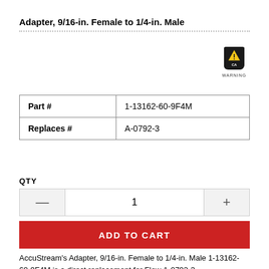Adapter, 9/16-in. Female to 1/4-in. Male
[Figure (illustration): California Proposition 65 warning icon — black California state shape with yellow warning triangle and 'CA' text, labeled WARNING underneath]
| Part # | 1-13162-60-9F4M |
| Replaces # | A-0792-3 |
QTY
1
ADD TO CART
AccuStream's Adapter, 9/16-in. Female to 1/4-in. Male 1-13162-60-9F4M is a direct replacement for Flow A-0792-3.